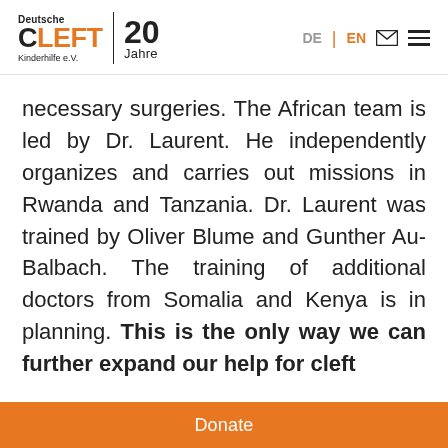Deutsche CLEFT Kinderhilfe e.V. | 20 Jahre — DE | EN [email] [menu]
necessary surgeries. The African team is led by Dr. Laurent. He independently organizes and carries out missions in Rwanda and Tanzania. Dr. Laurent was trained by Oliver Blume and Gunther Au-Balbach. The training of additional doctors from Somalia and Kenya is in planning. This is the only way we can further expand our help for cleft
Donate